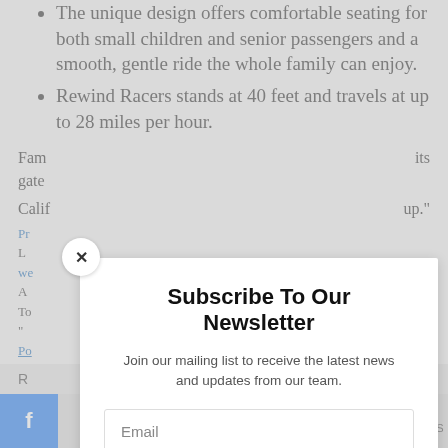The unique design offers comfortable seating for both small children and senior passengers and a smooth, gentle ride the whole family can enjoy.
Rewind Racers stands at 40 feet and travels at up to 28 miles per hour.
Fam... its gate...
Calif... up."
Pr... we... To... Po...
Subscribe To Our Newsletter
Join our mailing list to receive the latest news and updates from our team.
Email
SUBSCRIBE!
HARES